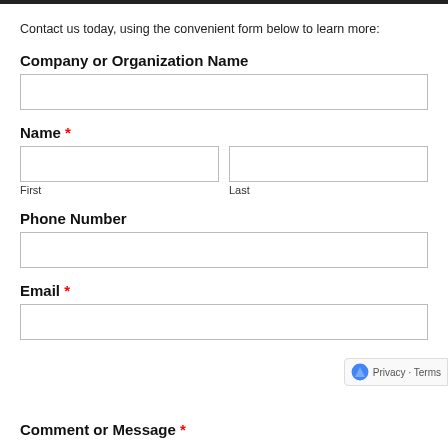Contact us today, using the convenient form below to learn more:
Company or Organization Name
[input field: Company or Organization Name]
Name *
[input fields: First, Last]
Phone Number
[input field: Phone Number]
Email *
[input field: Email]
Comment or Message *